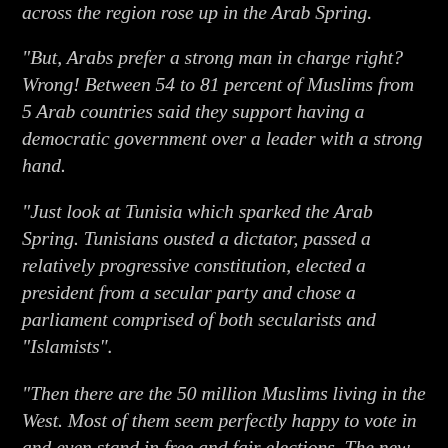across the region rose up in the Arab Spring.
“But, Arabs prefer a strong man in charge right? Wrong! Between 54 to 81 percent of Muslims from 5 Arab countries said they support having a democratic government over a leader with a strong hand.
“Just look at Tunisia which sparked the Arab Spring. Tunisians ousted a dictator, passed a relatively progressive constitution, elected a president from a secular party and chose a parliament comprised of both secularists and “Islamists”.
“Then there are the 50 million Muslims living in the West. Most of them seem perfectly happy to vote in and even stand in free and fair elections. The new directly-elected mayor of London, one of the world’s biggest greatest